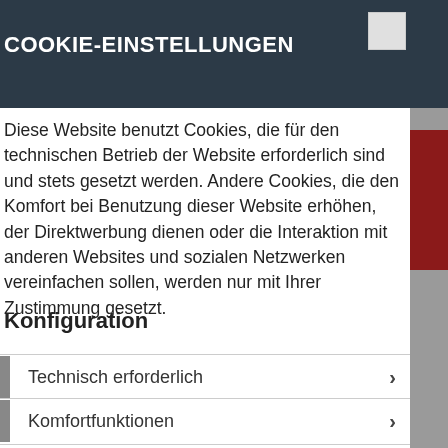COOKIE-EINSTELLUNGEN
Diese Website benutzt Cookies, die für den technischen Betrieb der Website erforderlich sind und stets gesetzt werden. Andere Cookies, die den Komfort bei Benutzung dieser Website erhöhen, der Direktwerbung dienen oder die Interaktion mit anderen Websites und sozialen Netzwerken vereinfachen sollen, werden nur mit Ihrer Zustimmung gesetzt.
Konfiguration
Technisch erforderlich
Komfortfunktionen